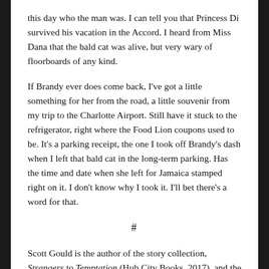this day who the man was. I can tell you that Princess Di survived his vacation in the Accord. I heard from Miss Dana that the bald cat was alive, but very wary of floorboards of any kind.
If Brandy ever does come back, I've got a little something for her from the road, a little souvenir from my trip to the Charlotte Airport. Still have it stuck to the refrigerator, right where the Food Lion coupons used to be. It's a parking receipt, the one I took off Brandy's dash when I left that bald cat in the long-term parking. Has the time and date when she left for Jamaica stamped right on it. I don't know why I took it. I'll bet there's a word for that.
#
Scott Gould is the author of the story collection, Strangers to Temptation (Hub City Books, 2017), and the novel, Whereabouts (Koehler Books, 2020). A